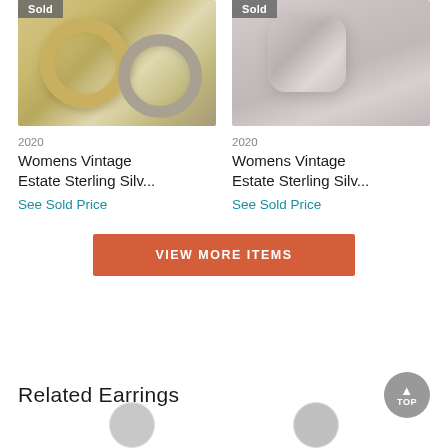[Figure (photo): Photo of womens vintage estate sterling silver hoop earrings (gold and silver tones) with a 'Sold' badge in top-left corner]
[Figure (photo): Photo of womens vintage estate sterling silver ring with a 'Sold' badge in top-left corner]
2020
Womens Vintage Estate Sterling Silv...
See Sold Price
2020
Womens Vintage Estate Sterling Silv...
See Sold Price
VIEW MORE ITEMS
Related Earrings